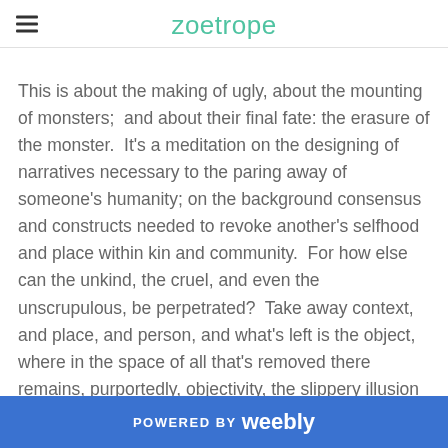zoetrope
This is about the making of ugly, about the mounting of monsters;  and about their final fate: the erasure of the monster.  It's a meditation on the designing of narratives necessary to the paring away of someone's humanity; on the background consensus and constructs needed to revoke another's selfhood and place within kin and community.  For how else can the unkind, the cruel, and even the unscrupulous, be perpetrated?  Take away context, and place, and person, and what's left is the object, where in the space of all that's removed there remains, purportedly, objectivity, the slippery illusion at the crux of any monster-making story for those making it.

It's an odd experience to be on the inside of this dynamic
POWERED BY weebly